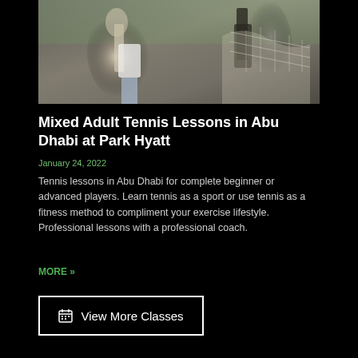[Figure (photo): Two people playing tennis near a net, woman in white top and blue skirt holding a racket, man in dark shirt visible on the right]
Mixed Adult Tennis Lessons in Abu Dhabi at Park Hyatt
January 24, 2022
Tennis lessons in Abu Dhabi for complete beginner or advanced players. Learn tennis as a sport or use tennis as a fitness method to compliment your exercise lifestyle. Professional lessons with a professional coach.
MORE »
View More Classes